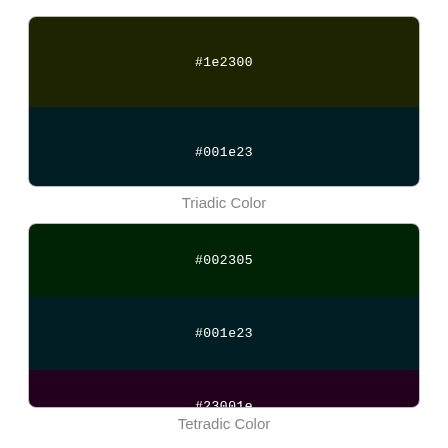[Figure (illustration): Triadic color swatch group: three horizontal color strips showing #1e2300 (dark olive green), #001e23 (dark teal), #23001e (dark magenta/purple)]
Triadic Color
[Figure (illustration): Tetradic color swatch group: four horizontal color strips showing #002305 (dark green), #001e23 (dark teal), #23001e (dark magenta/purple), #230500 (dark red/brown)]
Tetradic Color